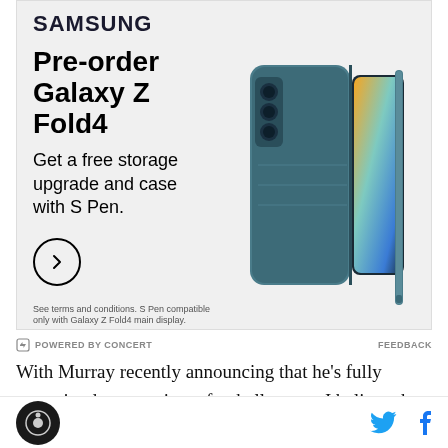[Figure (illustration): Samsung Galaxy Z Fold4 advertisement showing the phone with case and S Pen. Header says SAMSUNG. Headline: Pre-order Galaxy Z Fold4. Subtext: Get a free storage upgrade and case with S Pen. Arrow CTA button. Fine print: See terms and conditions. S Pen compatible only with Galaxy Z Fold4 main display.]
POWERED BY CONCERT
FEEDBACK
With Murray recently announcing that he's fully committed to pursuing a football career, I believe the path for him to end up as the QB1 of this class is being
[Figure (logo): Site logo - circular dark badge]
[Figure (logo): Twitter and Facebook social icons]